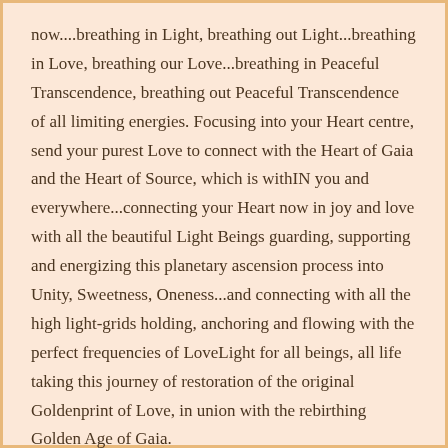now....breathing in Light, breathing out Light...breathing in Love, breathing our Love...breathing in Peaceful Transcendence, breathing out Peaceful Transcendence of all limiting energies. Focusing into your Heart centre, send your purest Love to connect with the Heart of Gaia and the Heart of Source, which is withIN you and everywhere...connecting your Heart now in joy and love with all the beautiful Light Beings guarding, supporting and energizing this planetary ascension process into Unity, Sweetness, Oneness...and connecting with all the high light-grids holding, anchoring and flowing with the perfect frequencies of LoveLight for all beings, all life taking this journey of restoration of the original Goldenprint of Love, in union with the rebirthing Golden Age of Gaia.
Within your Heart, visualize a pure Silver Flame of Transcendence, feel its soft, effortless serenity filling your